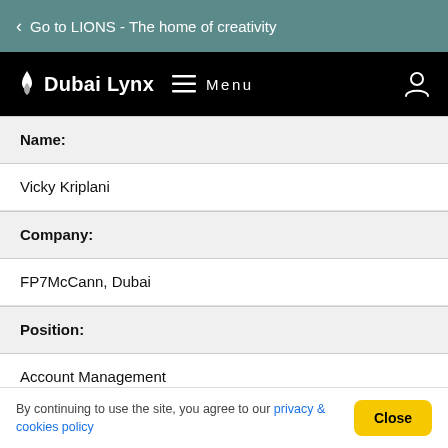Go to LIONS - The home of creativity
[Figure (logo): Dubai Lynx logo with flame icon and hamburger menu icon with 'Menu' text and person/account icon on the right]
Name:
Vicky Kriplani
Company:
FP7McCann, Dubai
Position:
Account Management
Name:
By continuing to use the site, you agree to our privacy & cookies policy